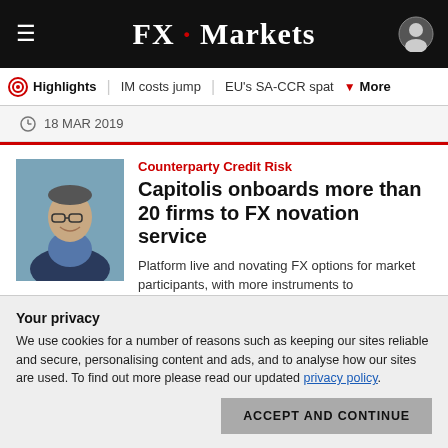FX · Markets
Highlights | IM costs jump | EU's SA-CCR spat | More
18 MAR 2019
Counterparty Credit Risk
Capitolis onboards more than 20 firms to FX novation service
Platform live and novating FX options for market participants, with more instruments to
Your privacy
We use cookies for a number of reasons such as keeping our sites reliable and secure, personalising content and ads, and to analyse how our sites are used. To find out more please read our updated privacy policy.
ACCEPT AND CONTINUE